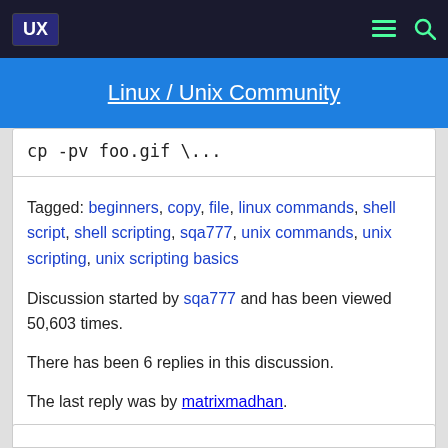UX | Linux / Unix Community
cp -pv foo.gif \...
Tagged: beginners, copy, file, linux commands, shell script, shell scripting, sqa777, unix commands, unix scripting, unix scripting basics
Discussion started by sqa777 and has been viewed 50,603 times.
There has been 6 replies in this discussion.
The last reply was by matrixmadhan.